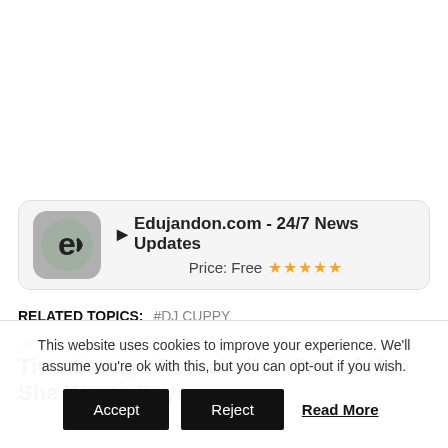[Figure (screenshot): App card for Edujandon.com showing app icon with stylized 'ej' letter, title '▶ Edujandon.com - 24/7 News Updates', and 'Price: Free ★★★★★']
RELATED TOPICS: #DJ CUPPY
UP NEXT
Tiwa Savage Reveals the Kind of Man She Wants Days
This website uses cookies to improve your experience. We'll assume you're ok with this, but you can opt-out if you wish.
Accept | Reject | Read More